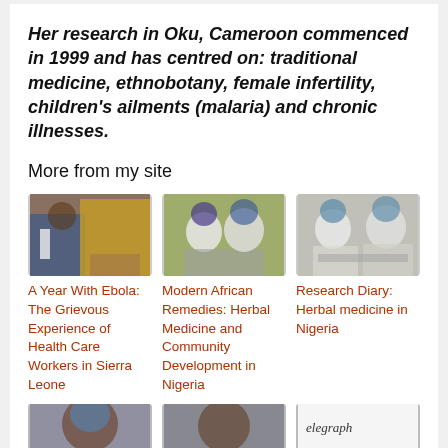Her research in Oku, Cameroon commenced in 1999 and has centred on: traditional medicine, ethnobotany, female infertility, children's ailments (malaria) and chronic illnesses.
More from my site
[Figure (photo): Person in yellow protective suit spraying disinfectant outdoors]
[Figure (photo): Two people in white lab coats and blue face masks and hair covers working with laboratory equipment]
[Figure (photo): Two people in white lab coats and blue face masks working with vials and equipment]
A Year With Ebola: The Grievous Experience of Health Care Workers in Sierra Leone
Modern African Remedies: Herbal Medicine and Community Development in Nigeria
Research Diary: Herbal medicine in Nigeria
[Figure (photo): Person with blue head covering, partial view]
[Figure (photo): Person, partial view]
[Figure (photo): Telegraph newspaper logo/screenshot]